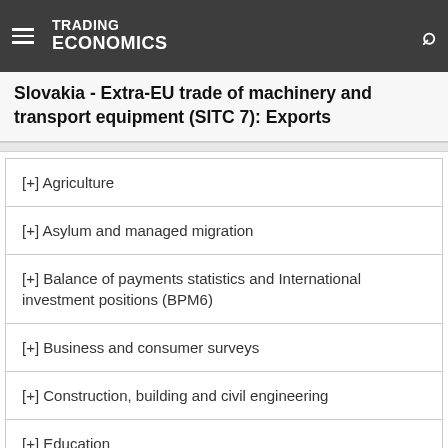TRADING ECONOMICS
Slovakia - Extra-EU trade of machinery and transport equipment (SITC 7): Exports
[+] Agriculture
[+] Asylum and managed migration
[+] Balance of payments statistics and International investment positions (BPM6)
[+] Business and consumer surveys
[+] Construction, building and civil engineering
[+] Education
[+] Electronic solutions